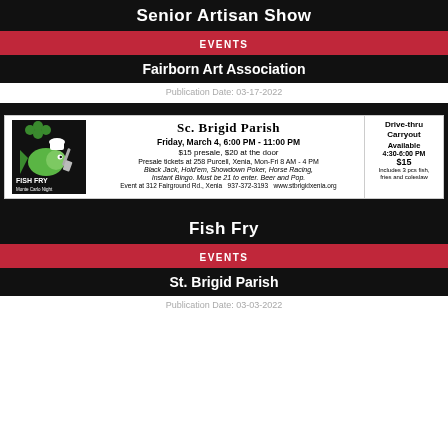Senior Artisan Show
EVENTS
Fairborn Art Association
Publication Date: 03-17-2022
[Figure (photo): Fish Fry advertisement for St. Brigid Parish featuring a cartoon fish chef logo, event details: Friday, March 4, 6:00 PM - 11:00 PM, $15 presale $20 at the door, presale tickets at 258 Purcell Xenia Mon-Fri 8 AM - 4 PM, Black Jack Hold'em Showdown Poker Horse Racing Instant Bingo, Drive-thru Carryout Available 4:30-6:00 PM $15 includes 3 pcs fish fries and coleslaw, event at 312 Fairground Rd. Xenia 937-372-3193 www.stbrigidxenia.org]
Fish Fry
EVENTS
St. Brigid Parish
Publication Date: 03-03-2022